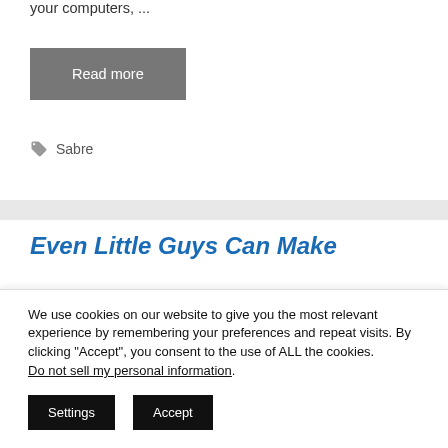your computers, ...
Read more
Sabre
Even Little Guys Can Make
We use cookies on our website to give you the most relevant experience by remembering your preferences and repeat visits. By clicking “Accept”, you consent to the use of ALL the cookies.
Do not sell my personal information.
Settings
Accept